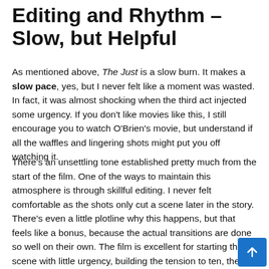Editing and Rhythm – Slow, but Helpful
As mentioned above, The Just is a slow burn. It makes a slow pace, yes, but I never felt like a moment was wasted. In fact, it was almost shocking when the third act injected some urgency. If you don't like movies like this, I still encourage you to watch O'Brien's movie, but understand if all the waffles and lingering shots might put you off watching it.
There's an unsettling tone established pretty much from the start of the film. One of the ways to maintain this atmosphere is through skillful editing. I never felt comfortable as the shots only cut a scene later in the story. There's even a little plotline why this happens, but that feels like a bonus, because the actual transitions are done so well on their own. The film is excellent for starting the scene with little urgency, building the tension to ten, then moving on to another just when you wonder what might happen next.